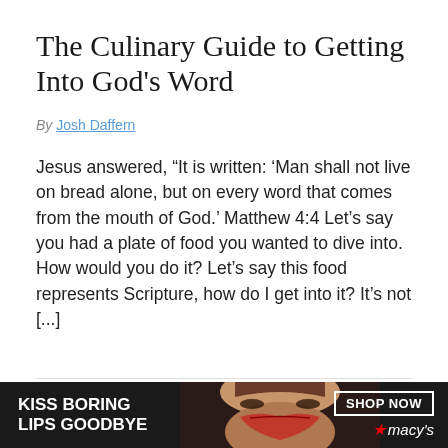The Culinary Guide to Getting Into God's Word
By Josh Daffern
Jesus answered, “It is written: ‘Man shall not live on bread alone, but on every word that comes from the mouth of God.’ Matthew 4:4 Let’s say you had a plate of food you wanted to dive into. How would you do it? Let’s say this food represents Scripture, how do I get into it? It’s not [...]
Reasons Why the Bible is
[Figure (photo): Advertisement banner for Macy's lipstick promotion. Dark background with a woman's face, bold text reading 'KISS BORING LIPS GOODBYE' on the left, 'SHOP NOW' button and Macy's star logo on the right.]